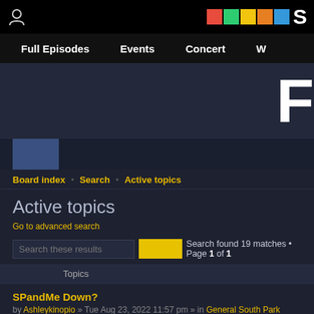Full Episodes   Events   Concert
Active topics
Go to advanced search
Search found 19 matches • Page 1 of 1
| Topics |
| --- |
| SPandMe Down?
by Ashleykinopio » Tue Aug 23, 2022 11:57 pm » in General South Park Discussion |
| What is your favorite manga and Anime?
by markwood007788 » Sun Dec 09, 2018 3:48 am » in Off Topic Discussion |